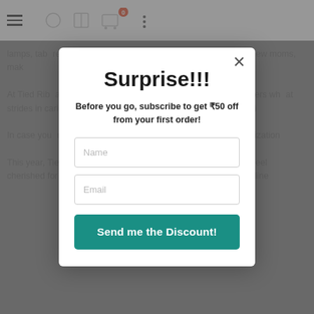Navigation bar with hamburger menu and icons
lamps, table... re, that are sure to make... accomplished so far. We a... for new moms, mak...
At Tied Rib... admire and respec... d make a conscious c... rs; mothers wh... at strides in caring fo... ners, who always ma... gift for first time mom i...
In case you... recently become a m... ious new mom gift id... d idealization...
This year, Tied Ribbons encourages you to make every mother feel cherished for her contribution through adorable gifts from our online
Surprise!!!
Before you go, subscribe to get ₹50 off from your first order!
Name
Email
Send me the Discount!